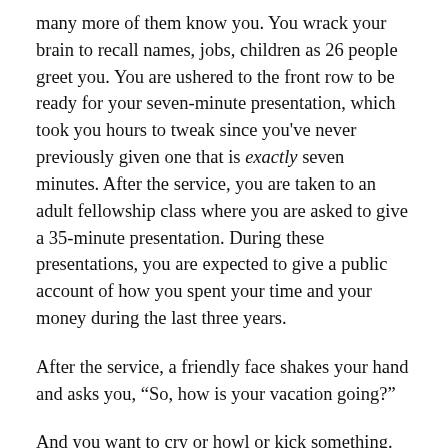many more of them know you. You wrack your brain to recall names, jobs, children as 26 people greet you. You are ushered to the front row to be ready for your seven-minute presentation, which took you hours to tweak since you've never previously given one that is exactly seven minutes. After the service, you are taken to an adult fellowship class where you are asked to give a 35-minute presentation. During these presentations, you are expected to give a public account of how you spent your time and your money during the last three years.
After the service, a friendly face shakes your hand and asks you, “So, how is your vacation going?”
And you want to cry or howl or kick something.
Honestly, friends, this is one of the most